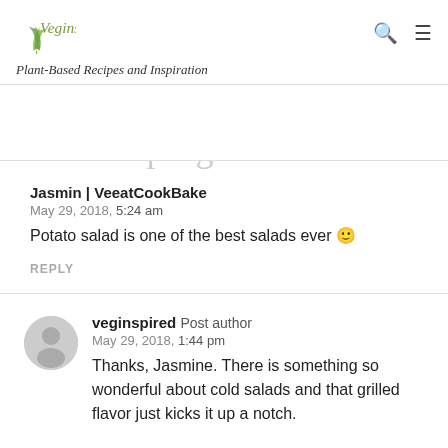Veginspired — Plant-Based Recipes and Inspiration
2 comments
Pingbacks
Jasmin | VeeatCookBake
May 29, 2018, 5:24 am
Potato salad is one of the best salads ever 🙂
REPLY
veginspired Post author
May 29, 2018, 1:44 pm
Thanks, Jasmine. There is something so wonderful about cold salads and that grilled flavor just kicks it up a notch.